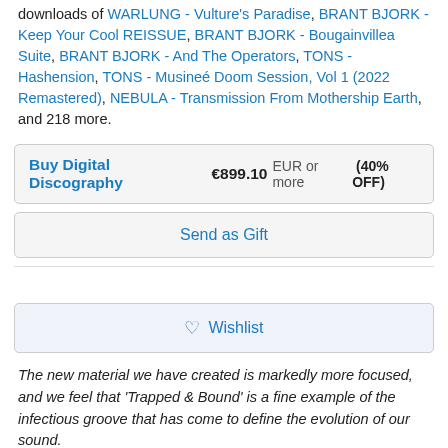downloads of WARLUNG - Vulture's Paradise, BRANT BJORK - Keep Your Cool REISSUE, BRANT BJORK - Bougainvillea Suite, BRANT BJORK - And The Operators, TONS - Hashension, TONS - Musineé Doom Session, Vol 1 (2022 Remastered), NEBULA - Transmission From Mothership Earth, and 218 more.
Buy Digital Discography €899.10 EUR or more (40% OFF)
Send as Gift
Wishlist
The new material we have created is markedly more focused, and we feel that 'Trapped & Bound' is a fine example of the infectious groove that has come to define the evolution of our sound.
As the first song we wrote for Violet Hour, it seems only too fitting that it spearheads the album.
credits
from ALUNAH - Violet Hour, released October 11, 2019